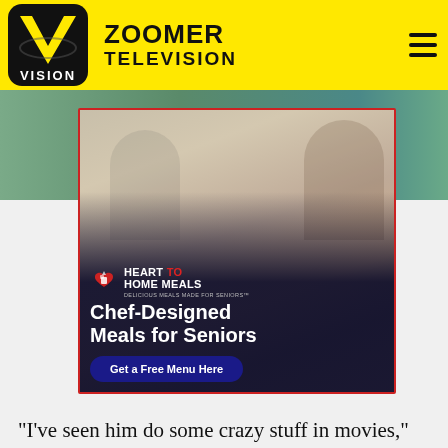ZOOMER TELEVISION
[Figure (photo): Advertisement for Heart to Home Meals showing an elderly couple smiling in a kitchen. Text overlay reads: HEART TO HOME MEALS - DELICIOUS MEALS MADE FOR SENIORS - Chef-Designed Meals for Seniors - Get a Free Menu Here]
"I've seen him do some crazy stuff in movies," says Keaton. "But Eric is not a person who likes to step too far out of his comfort zone usually. He's a creature